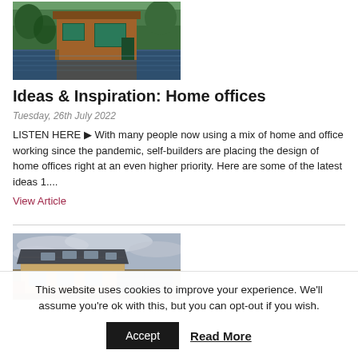[Figure (photo): Wooden home office cabin reflected in water, surrounded by trees]
Ideas & Inspiration: Home offices
Tuesday, 26th July 2022
LISTEN HERE ▶ With many people now using a mix of home and office working since the pandemic, self-builders are placing the design of home offices right at an even higher priority. Here are some of the latest ideas 1....
View Article
[Figure (photo): Modern house with slate roof tiles and skylights, overcast sky]
This website uses cookies to improve your experience. We'll assume you're ok with this, but you can opt-out if you wish.
Accept
Read More